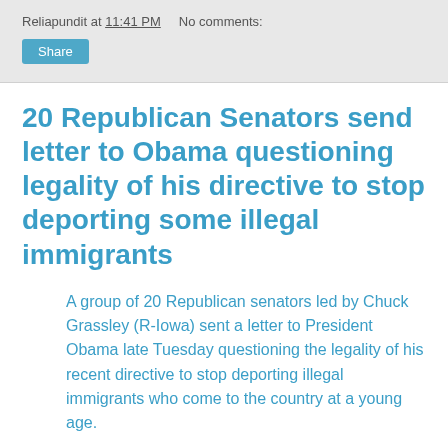Reliapundit at 11:41 PM   No comments:
20 Republican Senators send letter to Obama questioning legality of his directive to stop deporting some illegal immigrants
A group of 20 Republican senators led by Chuck Grassley (R-Iowa) sent a letter to President Obama late Tuesday questioning the legality of his recent directive to stop deporting illegal immigrants who come to the country at a young age.
“Not only do we question your legal authority to unilaterally act in this regard, we are frustrated that you have intentionally bypassed Congress